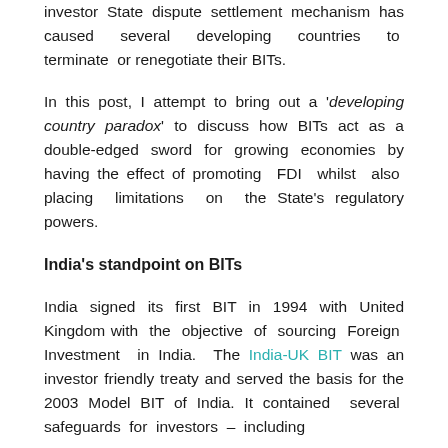investor State dispute settlement mechanism has caused several developing countries to terminate or renegotiate their BITs.
In this post, I attempt to bring out a 'developing country paradox' to discuss how BITs act as a double-edged sword for growing economies by having the effect of promoting FDI whilst also placing limitations on the State's regulatory powers.
India's standpoint on BITs
India signed its first BIT in 1994 with United Kingdom with the objective of sourcing Foreign Investment in India. The India-UK BIT was an investor friendly treaty and served the basis for the 2003 Model BIT of India. It contained several safeguards for investors – including